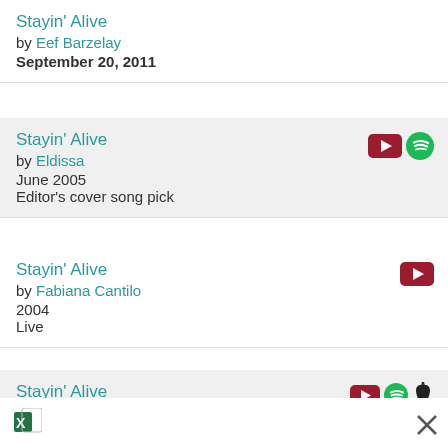Stayin' Alive by Eef Barzelay September 20, 2011
Stayin' Alive by Eldissa June 2005 Editor's cover song pick
Stayin' Alive by Fabiana Cantilo 2004 Live
Stayin' Alive by Flower Power May 20, 2012